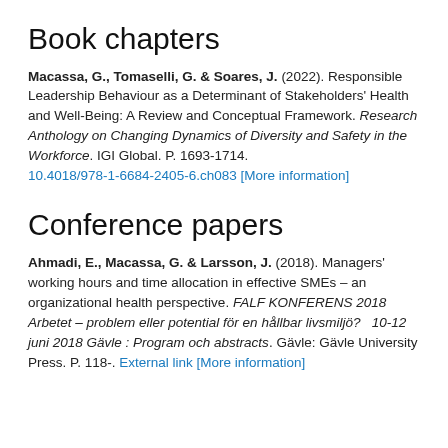Book chapters
Macassa, G., Tomaselli, G. & Soares, J. (2022). Responsible Leadership Behaviour as a Determinant of Stakeholders' Health and Well-Being: A Review and Conceptual Framework. Research Anthology on Changing Dynamics of Diversity and Safety in the Workforce. IGI Global. P. 1693-1714. 10.4018/978-1-6684-2405-6.ch083 [More information]
Conference papers
Ahmadi, E., Macassa, G. & Larsson, J. (2018). Managers' working hours and time allocation in effective SMEs – an organizational health perspective. FALF KONFERENS 2018 Arbetet – problem eller potential för en hållbar livsmiljö?  10-12 juni 2018 Gävle : Program och abstracts. Gävle: Gävle University Press. P. 118-. External link [More information]